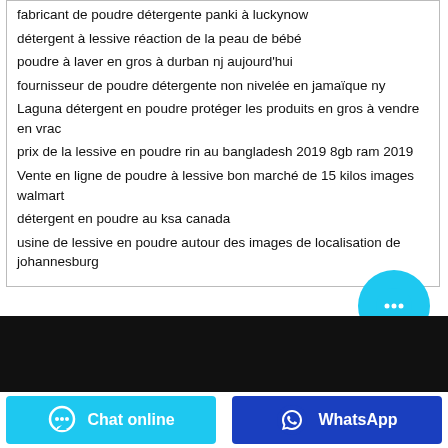fabricant de poudre détergente panki à luckynow
détergent à lessive réaction de la peau de bébé
poudre à laver en gros à durban nj aujourd'hui
fournisseur de poudre détergente non nivelée en jamaïque ny
Laguna détergent en poudre protéger les produits en gros à vendre en vrac
prix de la lessive en poudre rin au bangladesh 2019 8gb ram 2019
Vente en ligne de poudre à lessive bon marché de 15 kilos images walmart
détergent en poudre au ksa canada
usine de lessive en poudre autour des images de localisation de johannesburg
[Figure (other): Floating chat bubble button (cyan circle with ellipsis icon)]
[Figure (other): Black footer bar]
[Figure (other): Chat online button (cyan) and WhatsApp button (blue) in footer]